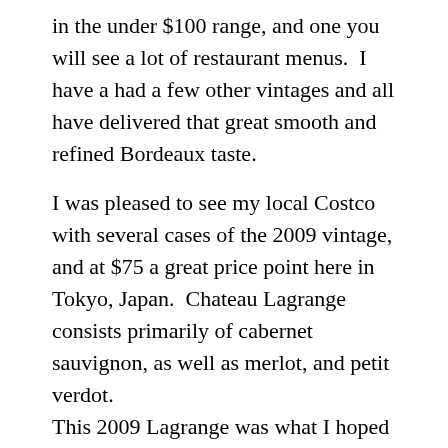in the under $100 range, and one you will see a lot of restaurant menus.  I have a had a few other vintages and all have delivered that great smooth and refined Bordeaux taste.
I was pleased to see my local Costco with several cases of the 2009 vintage, and at $75 a great price point here in Tokyo, Japan.  Chateau Lagrange consists primarily of cabernet sauvignon, as well as merlot, and petit verdot.
This 2009 Lagrange was what I hoped for from this renowned vintage.  After some decanting, this really opened up into a nice smooth drinking wine.  Great nose followed by a little vanillla, some blueberry flavors, and plum finish.  Not too over the top, very and the and a fine loving.  I have had more than 2009...